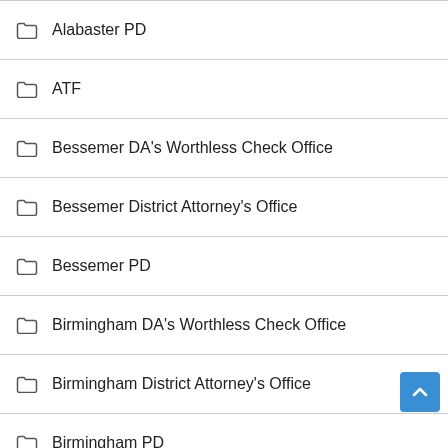Alabaster PD
ATF
Bessemer DA's Worthless Check Office
Bessemer District Attorney's Office
Bessemer PD
Birmingham DA's Worthless Check Office
Birmingham District Attorney's Office
Birmingham PD
Brighton PD
Brookside Police